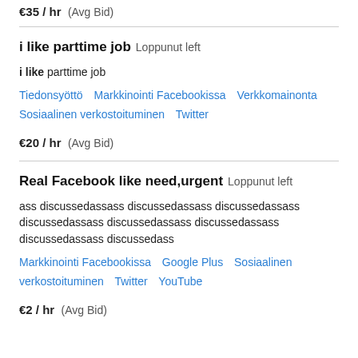€35 / hr  (Avg Bid)
i like parttime job  Loppunut left
i like parttime job
Tiedonsyöttö  Markkinointi Facebookissa  Verkkomainonta  Sosiaalinen verkostoituminen  Twitter
€20 / hr  (Avg Bid)
Real Facebook like need,urgent  Loppunut left
ass discussedassass discussedassass discussedassass discussedassass discussedassass discussedassass discussedassass discussedass
Markkinointi Facebookissa  Google Plus  Sosiaalinen verkostoituminen  Twitter  YouTube
€2 / hr  (Avg Bid)